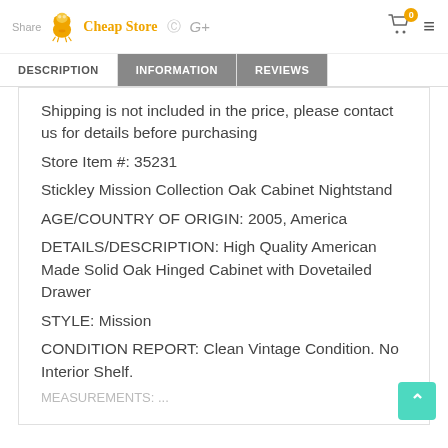Share | Cheap Store
DESCRIPTION | INFORMATION | REVIEWS
Shipping is not included in the price, please contact us for details before purchasing
Store Item #: 35231
Stickley Mission Collection Oak Cabinet Nightstand
AGE/COUNTRY OF ORIGIN: 2005, America
DETAILS/DESCRIPTION: High Quality American Made Solid Oak Hinged Cabinet with Dovetailed Drawer
STYLE: Mission
CONDITION REPORT: Clean Vintage Condition. No Interior Shelf.
MEASUREMENTS: ...